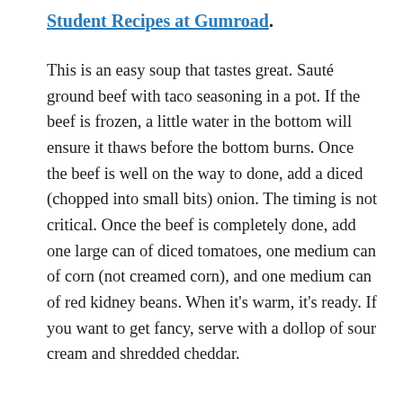Student Recipes at Gumroad.
This is an easy soup that tastes great. Sauté ground beef with taco seasoning in a pot. If the beef is frozen, a little water in the bottom will ensure it thaws before the bottom burns. Once the beef is well on the way to done, add a diced (chopped into small bits) onion. The timing is not critical. Once the beef is completely done, add one large can of diced tomatoes, one medium can of corn (not creamed corn), and one medium can of red kidney beans. When it's warm, it's ready. If you want to get fancy, serve with a dollop of sour cream and shredded cheddar.